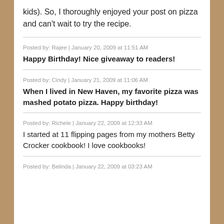kids). So, I thoroughly enjoyed your post on pizza and can't wait to try the recipe.
Posted by: Rajee | January 20, 2009 at 11:51 AM
Happy Birthday! Nice giveaway to readers!
Posted by: Cindy | January 21, 2009 at 11:06 AM
When I lived in New Haven, my favorite pizza was mashed potato pizza. Happy birthday!
Posted by: Richele | January 22, 2009 at 12:33 AM
I started at 11 flipping pages from my mothers Betty Crocker cookbook! I love cookbooks!
Posted by: Belinda | January 22, 2009 at 03:23 AM